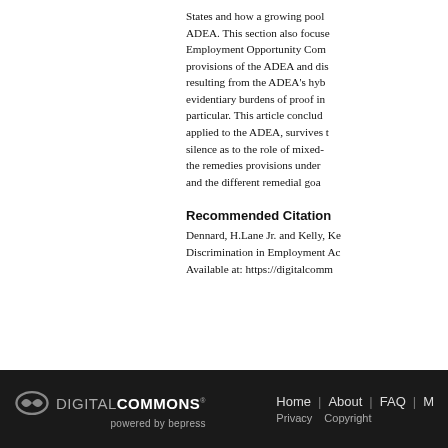States and how a growing pool ADEA. This section also focuse Employment Opportunity Com provisions of the ADEA and di resulting from the ADEA's hyb evidentiary burdens of proof i particular. This article conclud applied to the ADEA, survives silence as to the role of mixed- the remedies provisions under and the different remedial goa
Recommended Citation
Dennard, H.Lane Jr. and Kelly, Ke Discrimination in Employment Ac Available at: https://digitalcomm
DIGITAL COMMONS powered by bepress | Home | About | FAQ | M | Privacy  Copyright